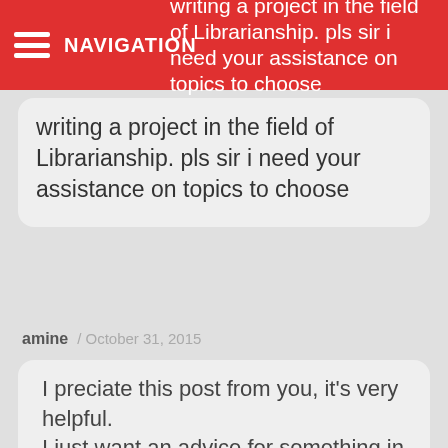NAVIGATION / writing a project in the field of Librarianship. pls sir i need your assistance on topics to choose
writing a project in the field of Librarianship. pls sir i need your assistance on topics to choose
amine / October 31, 2015
I preciate this post from you, it's very helpful.
I just want an advice for something in this case..
When it's bether to place the (thesis statment), before starting the developpement part or until I finish it,before the conclusion?!